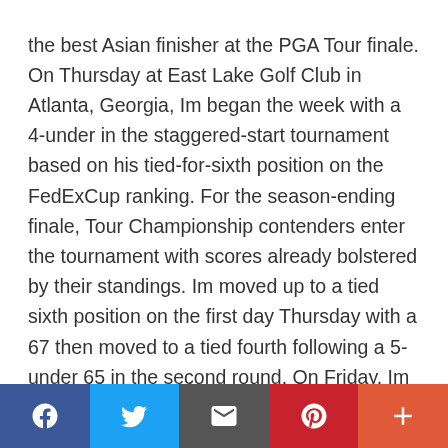the best Asian finisher at the PGA Tour finale. On Thursday at East Lake Golf Club in Atlanta, Georgia, Im began the week with a 4-under in the staggered-start tournament based on his tied-for-sixth position on the FedExCup ranking. For the season-ending finale, Tour Championship contenders enter the tournament with scores already bolstered by their standings. Im moved up to a tied sixth position on the first day Thursday with a 67 then moved to a tied fourth following a 5-under 65 in the second round. On Friday, Im showed off a stunt of chipping in an eagle on the sixth hole and carding five birdies for a 12-under total, trailing the leader at the time Scottie
Social share bar: Facebook, Twitter, Email, Pinterest, More